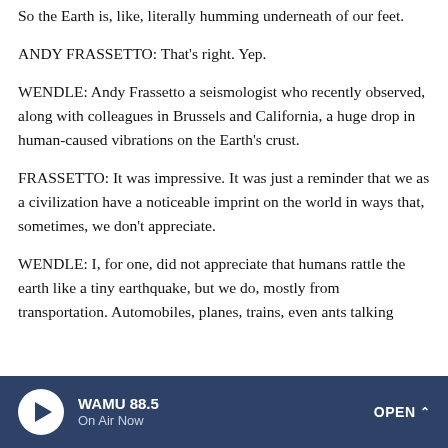So the Earth is, like, literally humming underneath of our feet.
ANDY FRASSETTO: That's right. Yep.
WENDLE: Andy Frassetto a seismologist who recently observed, along with colleagues in Brussels and California, a huge drop in human-caused vibrations on the Earth's crust.
FRASSETTO: It was impressive. It was just a reminder that we as a civilization have a noticeable imprint on the world in ways that, sometimes, we don't appreciate.
WENDLE: I, for one, did not appreciate that humans rattle the earth like a tiny earthquake, but we do, mostly from transportation. Automobiles, planes, trains, even ants talking
WAMU 88.5 On Air Now OPEN